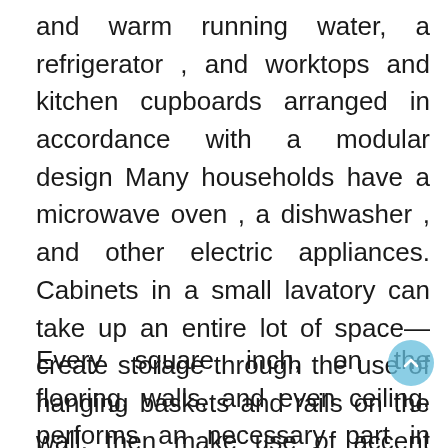and warm running water, a refrigerator , and worktops and kitchen cupboards arranged in accordance with a modular design Many households have a microwave oven , a dishwasher , and other electric appliances. Cabinets in a small lavatory can take up an entire lot of space—create storage through the use of hanging baskets and rails on the wall, then make use of accent containers to prepare all of the small stuff.
Every square inch, on the flooring, walls, and even ceiling, performs an necessary part in rising or diminishing the performance and